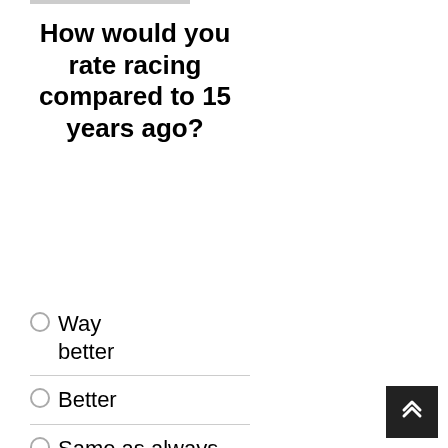How would you rate racing compared to 15 years ago?
Way better
Better
Same as always
Worse
Way